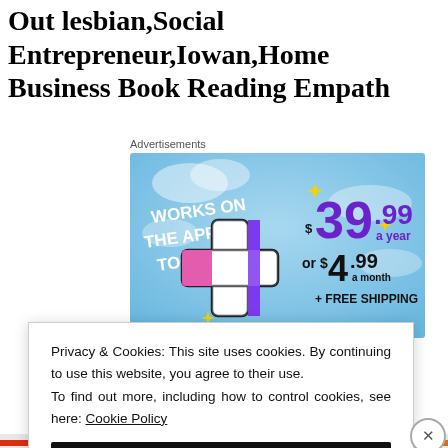Out lesbian,Social Entrepreneur,Iowan,Home Business Book Reading Empath
[Figure (advertisement): Advertisement banner: 'Works on the app too!' with $39.99 a year or $4.99 a month + FREE SHIPPING on blue background with stylized plus icon]
Privacy & Cookies: This site uses cookies. By continuing to use this website, you agree to their use. To find out more, including how to control cookies, see here: Cookie Policy
Close and accept